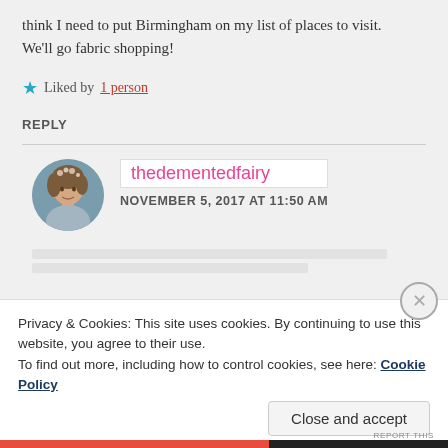think I need to put Birmingham on my list of places to visit. We'll go fabric shopping!
Liked by 1 person
REPLY
[Figure (photo): Circular avatar photo of a woman with curly hair wearing a floral headpiece, viewed from the side]
thedementedfairy
NOVEMBER 5, 2017 AT 11:50 AM
Privacy & Cookies: This site uses cookies. By continuing to use this website, you agree to their use. To find out more, including how to control cookies, see here: Cookie Policy
Close and accept